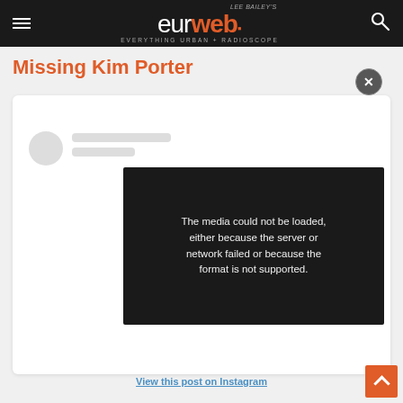Lee Bailey's eurweb.com — Everything Urban + Radioscope
Missing Kim Porter
[Figure (screenshot): Social media card with skeleton loader (avatar circle and grey lines), overlaid with a video player error message reading: The media could not be loaded, either because the server or network failed or because the format is not supported. A close button (X) appears at the top right of the video overlay.]
View this post on Instagram